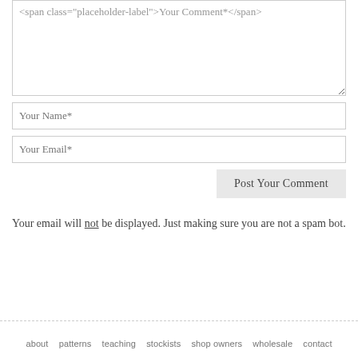Your Comment*
Your Name*
Your Email*
Post Your Comment
Your email will not be displayed. Just making sure you are not a spam bot.
about   patterns   teaching   stockists   shop owners   wholesale   contact